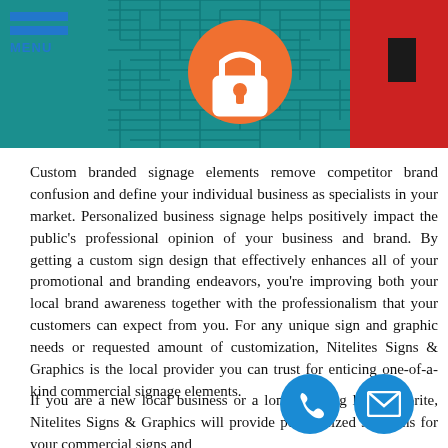[Figure (photo): Header image showing a teal maze-patterned background with an orange circle containing a padlock icon, and a red panel on the right side. Top-left has a blue hamburger menu icon labeled MENU.]
Custom branded signage elements remove competitor brand confusion and define your individual business as specialists in your market. Personalized business signage helps positively impact the public’s professional opinion of your business and brand. By getting a custom sign design that effectively enhances all of your promotional and branding endeavors, you’re improving both your local brand awareness together with the professionalism that your customers can expect from you. For any unique sign and graphic needs or requested amount of customization, Nitelites Signs & Graphics is the local provider you can trust for enticing one-of-a-kind commercial signage elements.
If you are a new local business or a long-standing local favorite, Nitelites Signs & Graphics will provide personalized solutions for your commercial signs and